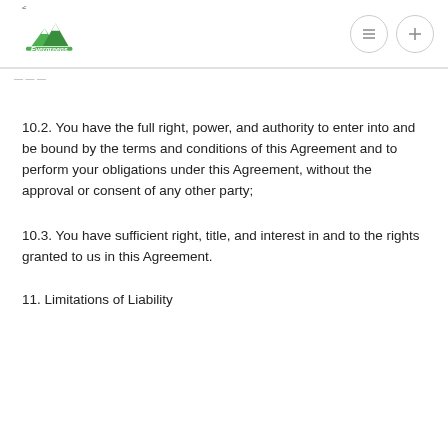North American Evergreens
10.2. You have the full right, power, and authority to enter into and be bound by the terms and conditions of this Agreement and to perform your obligations under this Agreement, without the approval or consent of any other party;
10.3. You have sufficient right, title, and interest in and to the rights granted to us in this Agreement.
11. Limitations of Liability